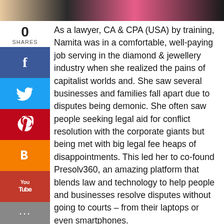[Figure (photo): Top strip showing cropped photo of people including a woman in pink]
As a lawyer, CA & CPA (USA) by training, Namita was in a comfortable, well-paying job serving in the diamond & jewellery industry when she realized the pains of capitalist worlds and. She saw several businesses and families fall apart due to disputes being demonic. She often saw people seeking legal aid for conflict resolution with the corporate giants but being met with big legal fee heaps of disappointments. This led her to co-found Presolv360, an amazing platform that blends law and technology to help people and businesses resolve disputes without going to courts – from their laptops or even smartphones.

Riding the chains of her few but strong success stories, she has been recognized among the top 60 in the 'Women Transforming India 2018' initiative of the GoI. Plus, she's also a part of WEE Foundation (Women Entrepreneurship and Empowerment), AFI (Action For India) and Agnii.

Now that's a woman to look up to!

To find out more about her & her venture: